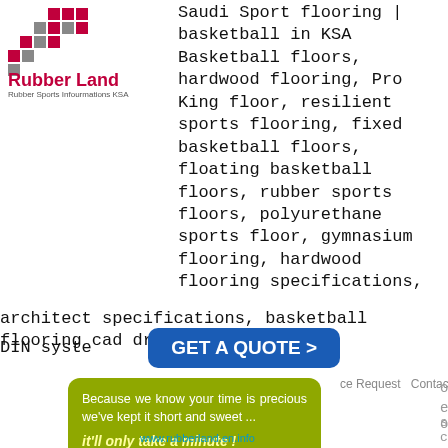[Figure (logo): Rubber Land logo with red/grey pixel grid pattern and text 'Rubber Land' in red, subtitle 'Rubber Sports Infourmations KSA']
Saudi Sport flooring | basketball in KSA Basketball floors, hardwood flooring, Pro King floor, resilient sports flooring, fixed basketball floors, floating basketball floors, rubber sports floors, polyurethane sports floor, gymnasium flooring, hardwood flooring specifications, architect specifications, basketball flooring cad drawings, DIN system n
[Figure (infographic): GET A QUOTE > button in dark blue, with olive/yellow tooltip bubble below reading 'Because we know your time is precious we've kept it short and sweet... it'll only take a minute!']
ice Request    Contact   AR
have a few challenges common outdoor tenn...
www.rubberland.en.info
In the past your options for rubber flooring tiles would have been limited to a handful of colors; whereas these days, if you're looking to fit rubber flooring in your apartment or home, the variety of rubber
[Figure (photo): Green sports field/artificial grass photo]
[Figure (photo): Teal camera icon circle]
[Figure (illustration): Dark play button circle]
the ial Gra ss